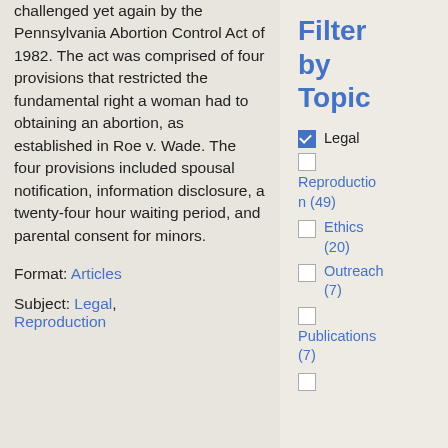challenged yet again by the Pennsylvania Abortion Control Act of 1982. The act was comprised of four provisions that restricted the fundamental right a woman had to obtaining an abortion, as established in Roe v. Wade. The four provisions included spousal notification, information disclosure, a twenty-four hour waiting period, and parental consent for minors.
Format: Articles
Subject: Legal, Reproduction
Filter by Topic
Legal (checked)
Reproduction (49)
Ethics (20)
Outreach (7)
Publications (7)